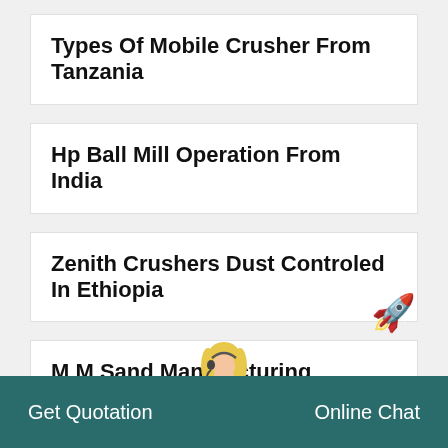Types Of Mobile Crusher From Tanzania
Hp Ball Mill Operation From India
Zenith Crushers Dust Controled In Ethiopia
M M Sand Manufacturing Machine In India
Ft China Crushers In Canada
Get Quotation    Online Chat